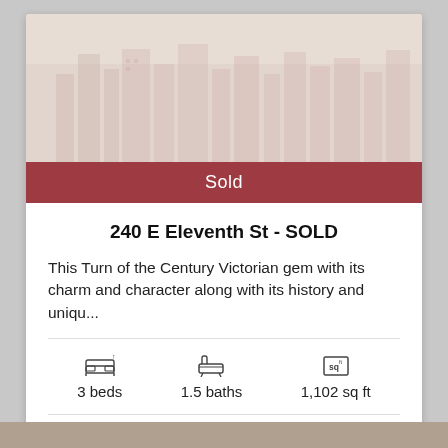[Figure (photo): Faded cityscape / building photo used as property listing header image]
Sold
240 E Eleventh St - SOLD
This Turn of the Century Victorian gem with its charm and character along with its history and uniqu...
3 beds   1.5 baths   1,102 sq ft
Property Site